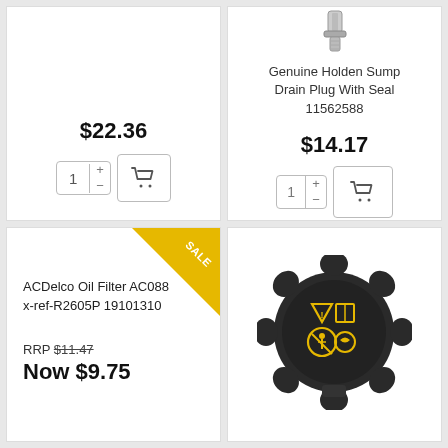$22.36
[Figure (screenshot): Quantity selector with +/- buttons and add to cart button]
[Figure (photo): Genuine Holden Sump Drain Plug With Seal 11562588 - metallic screw/bolt part]
Genuine Holden Sump Drain Plug With Seal 11562588
$14.17
[Figure (screenshot): Quantity selector with +/- buttons and add to cart button]
ACDelco Oil Filter AC088 x-ref-R2605P 19101310
RRP $11.47
Now $9.75
[Figure (photo): Black automotive oil/coolant reservoir cap with warning symbols in yellow]